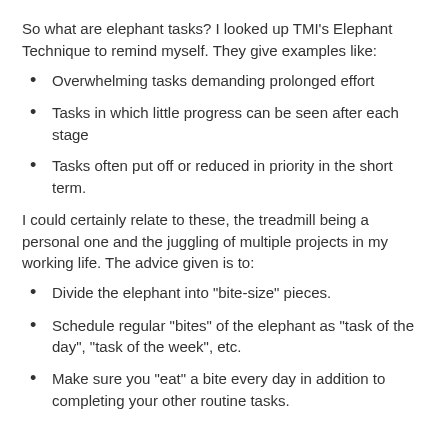So what are elephant tasks? I looked up TMI's Elephant Technique to remind myself. They give examples like:
Overwhelming tasks demanding prolonged effort
Tasks in which little progress can be seen after each stage
Tasks often put off or reduced in priority in the short term.
I could certainly relate to these, the treadmill being a personal one and the juggling of multiple projects in my working life. The advice given is to:
Divide the elephant into "bite-size" pieces.
Schedule regular "bites" of the elephant as "task of the day", "task of the week", etc.
Make sure you "eat" a bite every day in addition to completing your other routine tasks.